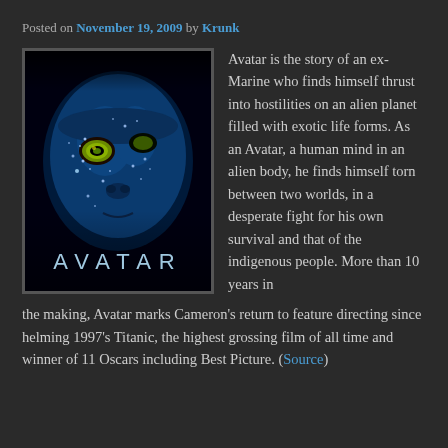Posted on November 19, 2009 by Krunk
[Figure (photo): Avatar movie poster showing a blue Na'vi face with yellow eyes against a dark background, with 'AVATAR' text at the bottom]
Avatar is the story of an ex-Marine who finds himself thrust into hostilities on an alien planet filled with exotic life forms. As an Avatar, a human mind in an alien body, he finds himself torn between two worlds, in a desperate fight for his own survival and that of the indigenous people. More than 10 years in the making, Avatar marks Cameron's return to feature directing since helming 1997's Titanic, the highest grossing film of all time and winner of 11 Oscars including Best Picture. (Source)